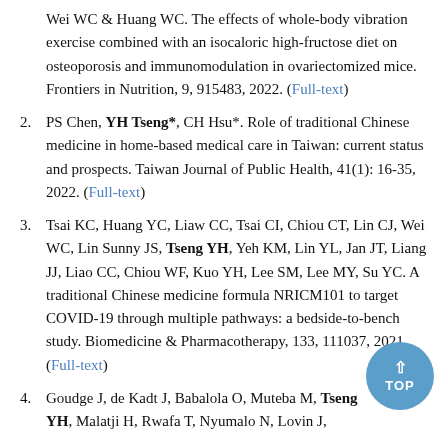Wei WC & Huang WC. The effects of whole-body vibration exercise combined with an isocaloric high-fructose diet on osteoporosis and immunomodulation in ovariectomized mice. Frontiers in Nutrition, 9, 915483, 2022. ( Full-text )
2. PS Chen, YH Tseng*, CH Hsu*. Role of traditional Chinese medicine in home-based medical care in Taiwan: current status and prospects. Taiwan Journal of Public Health, 41(1): 16-35, 2022. ( Full-text )
3. Tsai KC, Huang YC, Liaw CC, Tsai CI, Chiou CT, Lin CJ, Wei WC, Lin Sunny JS, Tseng YH, Yeh KM, Lin YL, Jan JT, Liang JJ, Liao CC, Chiou WF, Kuo YH, Lee SM, Lee MY, Su YC. A traditional Chinese medicine formula NRICM101 to target COVID-19 through multiple pathways: a bedside-to-bench study. Biomedicine & Pharmacotherapy, 133, 111037, 2021. ( Full-text )
4. Goudge J, de Kadt J, Babalola O, Muteba M, Tseng YH, Malatji H, Rwafa T, Nyumalo N, Lovin J, ...